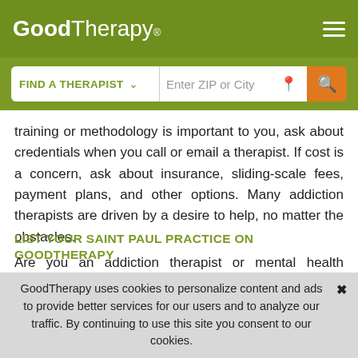GoodTherapy®
[Figure (screenshot): GoodTherapy website header with logo on olive green background and hamburger menu icon]
[Figure (screenshot): Search bar with 'FIND A THERAPIST' dropdown and 'Enter ZIP or City' input field with orange search button]
training or methodology is important to you, ask about credentials when you call or email a therapist. If cost is a concern, ask about insurance, sliding-scale fees, payment plans, and other options. Many addiction therapists are driven by a desire to help, no matter the obstacles.
LIST YOUR SAINT PAUL PRACTICE ON GOODTHERAPY
Are you an addiction therapist or mental health professional looking for innovative ways to market your practice and get referrals in Saint Paul? Keeping up with continuing education
GoodTherapy uses cookies to personalize content and ads to provide better services for our users and to analyze our traffic. By continuing to use this site you consent to our cookies.